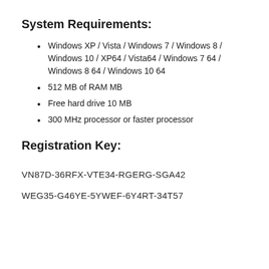System Requirements:
Windows XP / Vista / Windows 7 / Windows 8 / Windows 10 / XP64 / Vista64 / Windows 7 64 / Windows 8 64 / Windows 10 64
512 MB of RAM MB
Free hard drive 10 MB
300 MHz processor or faster processor
Registration Key:
VN87D-36RFX-VTE34-RGERG-SGA42
WEG35-G46YE-5YWEF-6Y4RT-34T57